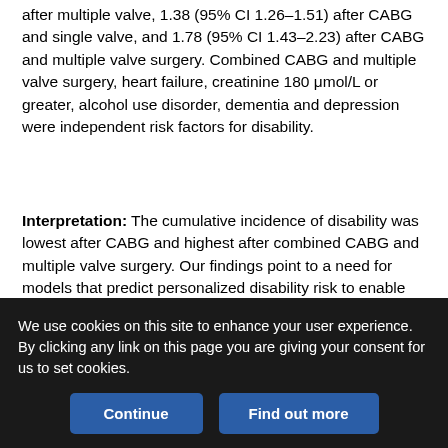after multiple valve, 1.38 (95% CI 1.26–1.51) after CABG and single valve, and 1.78 (95% CI 1.43–2.23) after CABG and multiple valve surgery. Combined CABG and multiple valve surgery, heart failure, creatinine 180 μmol/L or greater, alcohol use disorder, dementia and depression were independent risk factors for disability.
Interpretation: The cumulative incidence of disability was lowest after CABG and highest after combined CABG and multiple valve surgery. Our findings point to a need for models that predict personalized disability risk to enable better patient-centred care.
© 2021 Joule Inc. or its licensors
This is an Open Access article distributed in accordance with the terms of the Creative Commons Attribution (CC BY-NC-ND 4.0)
We use cookies on this site to enhance your user experience. By clicking any link on this page you are giving your consent for us to set cookies.